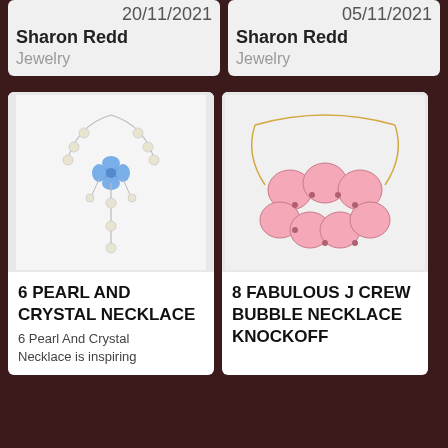20/11/2021
Sharon Redd
Jewelry
05/11/2021
Sharon Redd
Jewelry
[Figure (photo): Pearl and crystal necklace with blue flower centerpiece and dangling pearl drops]
6 PEARL AND CRYSTAL NECKLACE
6 Pearl And Crystal Necklace is inspiring
[Figure (photo): Pink bubble statement necklace on gold chain]
8 FABULOUS J CREW BUBBLE NECKLACE KNOCKOFF